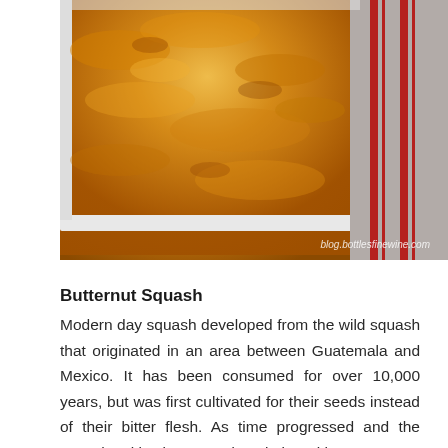[Figure (photo): Close-up photo of a baked butternut squash casserole in a white rectangular baking dish, with a golden-orange cheesy top, alongside a red-striped white dish towel. Watermark reads 'blog.bottlesfinewine.com'.]
Butternut Squash
Modern day squash developed from the wild squash that originated in an area between Guatemala and Mexico. It has been consumed for over 10,000 years, but was first cultivated for their seeds instead of their bitter flesh. As time progressed and the squash cultivation spread, varieties with a